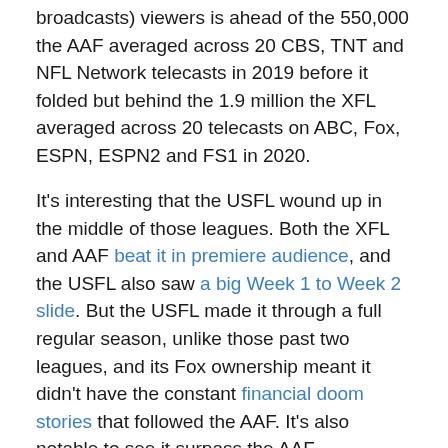broadcasts) viewers is ahead of the 550,000 the AAF averaged across 20 CBS, TNT and NFL Network telecasts in 2019 before it folded but behind the 1.9 million the XFL averaged across 20 telecasts on ABC, Fox, ESPN, ESPN2 and FS1 in 2020.
It's interesting that the USFL wound up in the middle of those leagues. Both the XFL and AAF beat it in premiere audience, and the USFL also saw a big Week 1 to Week 2 slide. But the USFL made it through a full regular season, unlike those past two leagues, and its Fox ownership meant it didn't have the constant financial doom stories that followed the AAF. It's also notable to see it surpass the AAF considering that the general sports rating environment we've seen in many cases lately is "rises from 2020 and 2021, below 2019 and 2018."